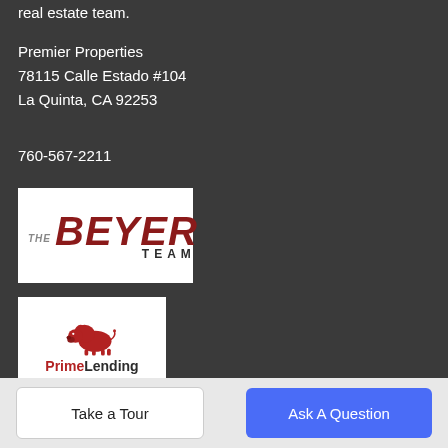real estate team.
Premier Properties
78115 Calle Estado #104
La Quinta, CA 92253
760-567-2211
[Figure (logo): The Beyer Team logo — red italic BEYER text with THE in small gray italic and TEAM in dark spaced caps]
[Figure (logo): PrimeLending A PlainsCapital Company logo — red bison silhouette above PrimeLending text in red and dark gray, subtitle A PlainsCapital Company]
Take a Tour
Ask A Question